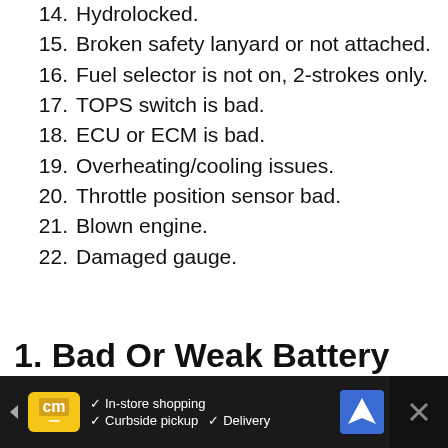14. Hydrolocked.
15. Broken safety lanyard or not attached.
16. Fuel selector is not on, 2-strokes only.
17. TOPS switch is bad.
18. ECU or ECM is bad.
19. Overheating/cooling issues.
20. Throttle position sensor bad.
21. Blown engine.
22. Damaged gauge.
1. Bad Or Weak Battery Can Keep A Jet Ski From Starting
[Figure (other): Advertisement banner with dark background showing CM logo, In-store shopping, Curbside pickup, Delivery options, navigation icon, and close button]